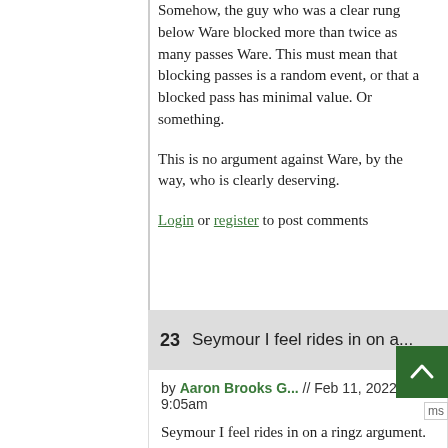Somehow, the guy who was a clear rung below Ware blocked more than twice as many passes Ware. This must mean that blocking passes is a random event, or that a blocked pass has minimal value. Or something.
This is no argument against Ware, by the way, who is clearly deserving.
Login or register to post comments
23  Seymour I feel rides in on a...
by Aaron Brooks G... // Feb 11, 2022 - 9:05am
Seymour I feel rides in on a ringz argument. Of the dynasty Pats, really